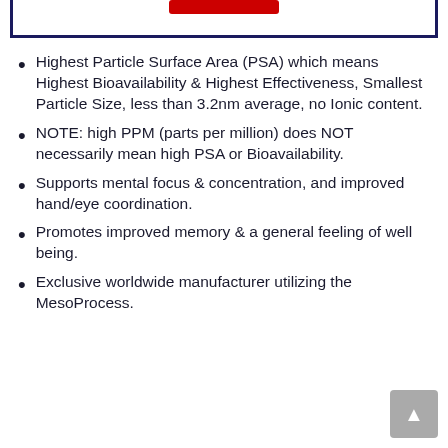[Figure (other): Top border box with red button/banner at top center]
Highest Particle Surface Area (PSA) which means Highest Bioavailability & Highest Effectiveness, Smallest Particle Size, less than 3.2nm average, no Ionic content.
NOTE: high PPM (parts per million) does NOT necessarily mean high PSA or Bioavailability.
Supports mental focus & concentration, and improved hand/eye coordination.
Promotes improved memory & a general feeling of well being.
Exclusive worldwide manufacturer utilizing the MesoProcess.